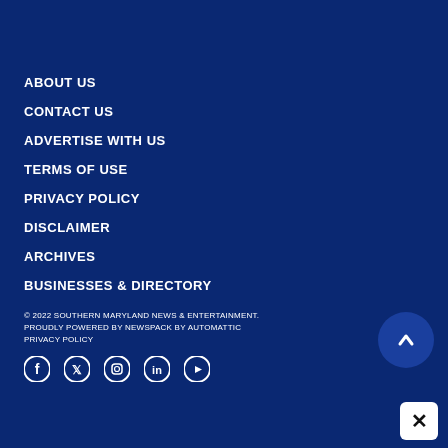ABOUT US
CONTACT US
ADVERTISE WITH US
TERMS OF USE
PRIVACY POLICY
DISCLAIMER
ARCHIVES
BUSINESSES & DIRECTORY
© 2022 SOUTHERN MARYLAND NEWS & ENTERTAINMENT. PROUDLY POWERED BY NEWSPACK BY AUTOMATTIC PRIVACY POLICY
[Figure (illustration): Social media icons: Facebook, Twitter, Instagram, LinkedIn, YouTube]